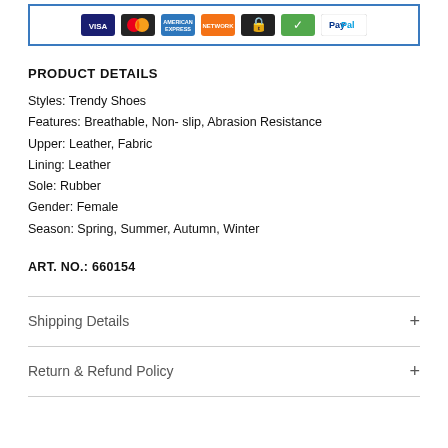[Figure (other): Payment methods banner showing Visa, Mastercard, American Express, Network, secure icon, green checkmark icon, and PayPal logos inside a blue-bordered box]
PRODUCT DETAILS
Styles: Trendy Shoes
Features: Breathable, Non- slip, Abrasion Resistance
Upper: Leather, Fabric
Lining: Leather
Sole: Rubber
Gender: Female
Season: Spring, Summer, Autumn, Winter
ART. NO.: 660154
Shipping Details
Return & Refund Policy